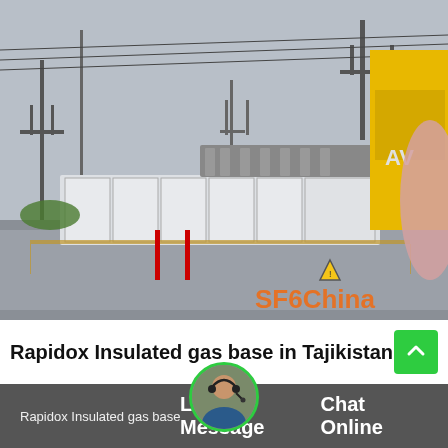[Figure (photo): Outdoor electrical substation or gas-insulated switchgear installation. Shows large white modular equipment units behind fencing, power line towers in the background, a yellow container/building on the right, overcast sky. Watermark 'SF6China' in orange bottom-right corner.]
Rapidox Insulated gas base in Tajikistan
Rapidox Insulated gas base in  Kingspa   Leave Message   Chat Online